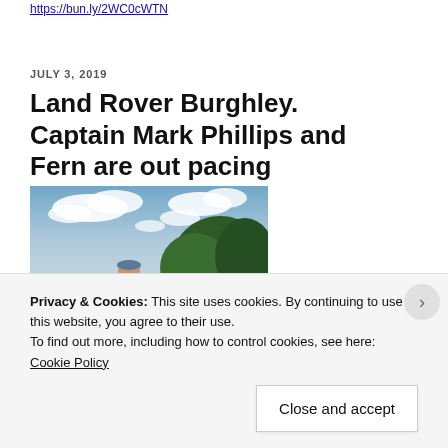https://bun.ly/2WC0cWTN
JULY 3, 2019
Land Rover Burghley. Captain Mark Phillips and Fern are out pacing
[Figure (photo): Photograph of a man outdoors on grass with trees and cloudy sky in the background]
Privacy & Cookies: This site uses cookies. By continuing to use this website, you agree to their use.
To find out more, including how to control cookies, see here: Cookie Policy
Close and accept